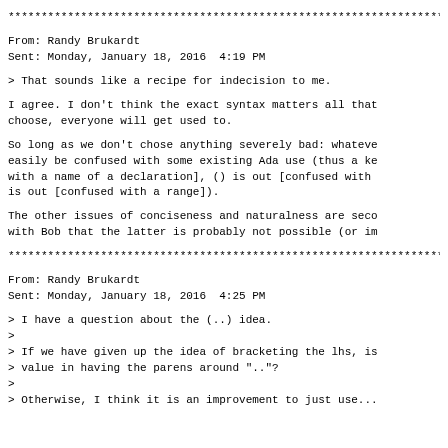********************************************************************************
From: Randy Brukardt
Sent: Monday, January 18, 2016  4:19 PM
> That sounds like a recipe for indecision to me.
I agree. I don't think the exact syntax matters all that
choose, everyone will get used to.
So long as we don't chose anything severely bad: whatever
easily be confused with some existing Ada use (thus a ke
with a name of a declaration], () is out [confused with
is out [confused with a range]).
The other issues of conciseness and naturalness are seco
with Bob that the latter is probably not possible (or im
********************************************************************************
From: Randy Brukardt
Sent: Monday, January 18, 2016  4:25 PM
> I have a question about the (..) idea.
>
> If we have given up the idea of bracketing the lhs, is
> value in having the parens around ".."?
>
> Otherwise, I think it is an improvement to just use...